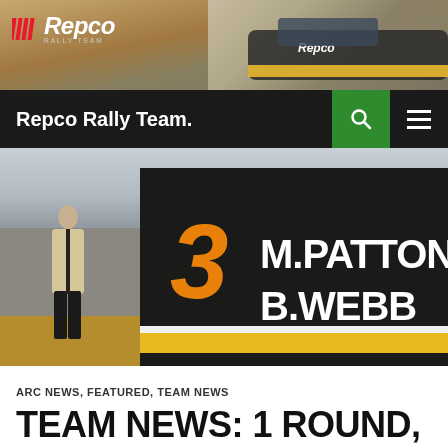[Figure (photo): Repco Rally Team header banner with logo on left and rally car (yellow/black Mitsubishi) on right against dusty background]
Repco Rally Team.
[Figure (photo): Rally car close-up showing door with number 3 in orange and names M.PATTON and B.WEBB in white text, with person standing in background on dirt terrain]
ARC NEWS, FEATURED, TEAM NEWS
TEAM NEWS: 1 ROUND, 1 WIN TO GO. RALLYSA